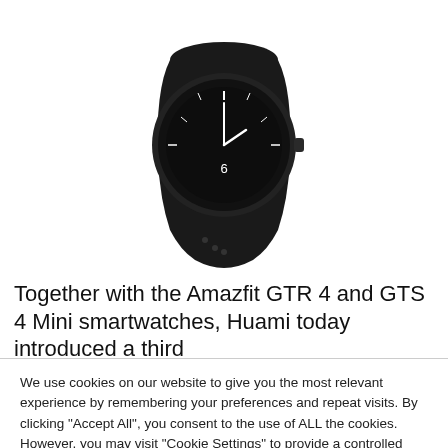[Figure (photo): Product photo of a black Amazfit smartwatch shown from the back/side angle with a round black watch face showing the number 6 and tick marks, with a black silicone band.]
Together with the Amazfit GTR 4 and GTS 4 Mini smartwatches, Huami today introduced a third
We use cookies on our website to give you the most relevant experience by remembering your preferences and repeat visits. By clicking "Accept All", you consent to the use of ALL the cookies. However, you may visit "Cookie Settings" to provide a controlled consent. Read More